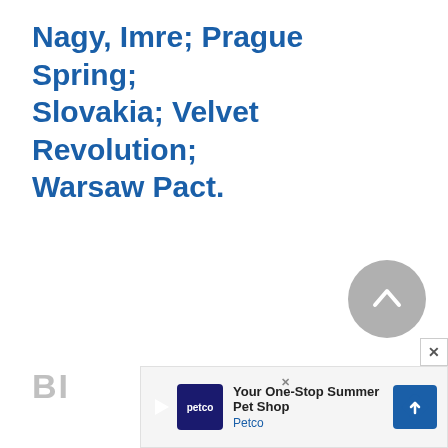Nagy, Imre; Prague Spring; Slovakia; Velvet Revolution; Warsaw Pact.
[Figure (other): Gray circular back-to-top button with upward chevron arrow]
BI...
[Figure (screenshot): Petco advertisement banner: Your One-Stop Summer Pet Shop, with Petco logo and blue diamond icon]